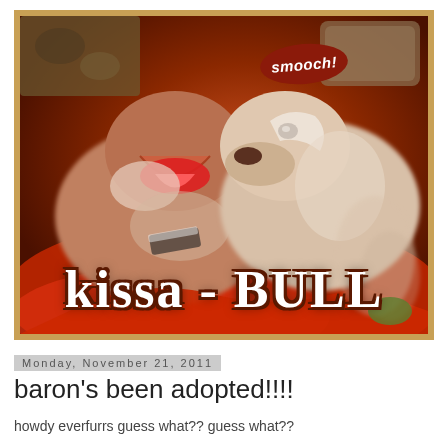[Figure (photo): Two pit bull dogs lying together on red/orange bedding, one licking the other. A speech bubble reads 'smooch!' Text overlay at bottom reads 'kissa - BULL' in large white graffiti-style font. Image has a warm brown/red toned filter and is framed with a gold/tan border.]
Monday, November 21, 2011
baron's been adopted!!!!
howdy everfurrs guess what?? guess what??